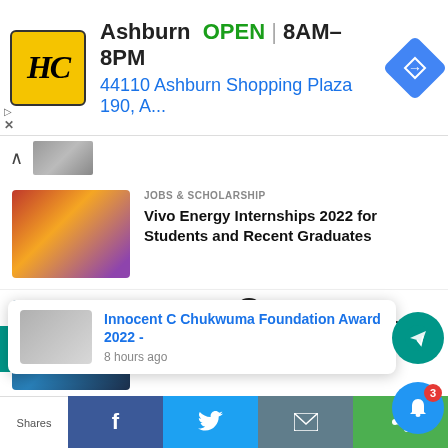[Figure (screenshot): Ad banner: HC logo (yellow/black), Ashburn OPEN 8AM-8PM, 44110 Ashburn Shopping Plaza 190, A..., with blue navigation diamond icon]
[Figure (screenshot): Scroll/thumbnail bar with chevron up and small image thumbnail]
JOBS & SCHOLARSHIP
Vivo Energy Internships 2022 for Students and Recent Graduates
JOBS & SCHOLARSHIP
IMF Youth Fellowship Program 2022 | Apply by August 21
SPORTS
[Figure (screenshot): Notification popup: Innocent C Chukwuma Foundation Award 2022 - 8 hours ago]
[Figure (screenshot): Telegram channel bar overlay with X close button and Telegram icon]
Shares